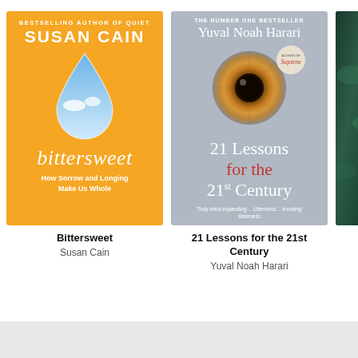[Figure (illustration): Book cover for 'Bittersweet' by Susan Cain. Orange/yellow background with a teardrop shape containing a sky/cloud image. Author byline 'Bestselling Author of Quiet', author name 'Susan Cain', title 'bittersweet', subtitle 'How Sorrow and Longing Make Us Whole'.]
Bittersweet
Susan Cain
[Figure (illustration): Book cover for '21 Lessons for the 21st Century' by Yuval Noah Harari. Grey/blue background with a circular eye/iris image and a 'Author of Sapiens' badge. Title '21 Lessons for the 21st Century' in white and red text. Quote beneath title.]
21 Lessons for the 21st Century
Yuval Noah Harari
[Figure (illustration): Partial book cover with dark green/teal ocean or nature background, partially cropped at right edge.]